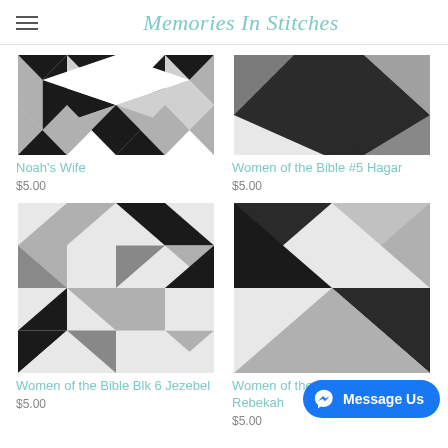Memories In Stitches
[Figure (photo): Quilt block pattern - Noah's Wife, geometric triangles in black, white, gray]
Noah's Wife
$5.00
[Figure (photo): Quilt block pattern - Women of the Bible #5 Hagar, geometric shapes in dark gray and light gray]
Women of the Bible #5 Hagar
$5.00
[Figure (photo): Quilt block pattern - Women of the Bible Blk 6 Jezebel, geometric triangles in black, white, gray]
Women of the Bible Blk 6 Jezebel
$5.00
[Figure (photo): Quilt block pattern - Women of the Bible BOM #7 Rebekah, geometric triangles in dark and light gray]
Women of the Bible BOM #7 Rebekah
$5.00